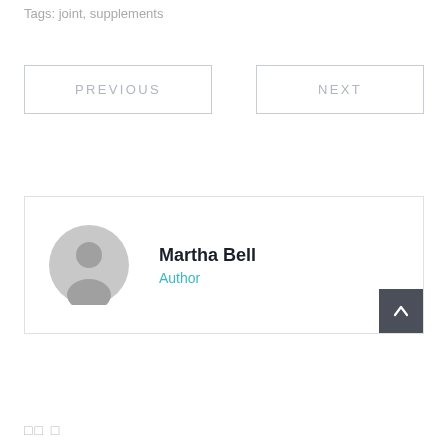Tags: joint, supplements
PREVIOUS
NEXT
Martha Bell
Author
□□ □